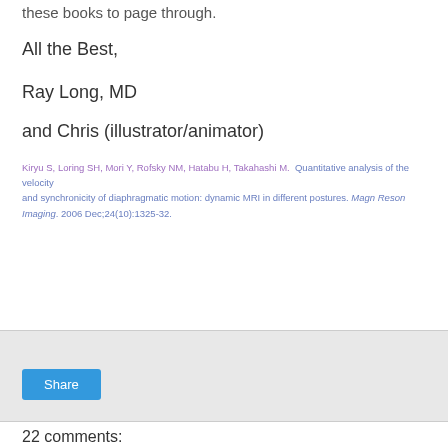these books to page through.
All the Best,
Ray Long, MD
and Chris (illustrator/animator)
Kiryu S, Loring SH, Mori Y, Rofsky NM, Hatabu H, Takahashi M.  Quantitative analysis of the velocity and synchronicity of diaphragmatic motion: dynamic MRI in different postures. Magn Reson Imaging. 2006 Dec;24(10):1325-32.
Share
22 comments: